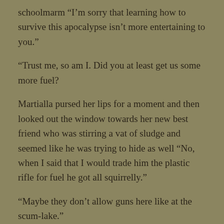schoolmarm “I’m sorry that learning how to survive this apocalypse isn’t more entertaining to you.”
“Trust me, so am I.  Did you at least get us some more fuel?
Martialla pursed her lips for a moment and then looked out the window towards her new best friend who was stirring a vat of sludge and seemed like he was trying to hide as well “No, when I said that I would trade him the plastic rifle for fuel he got all squirrelly.”
“Maybe they don’t allow guns here like at the scum-lake.”
“That could be.  Maybe the Roadrunners . . .”
“M—”